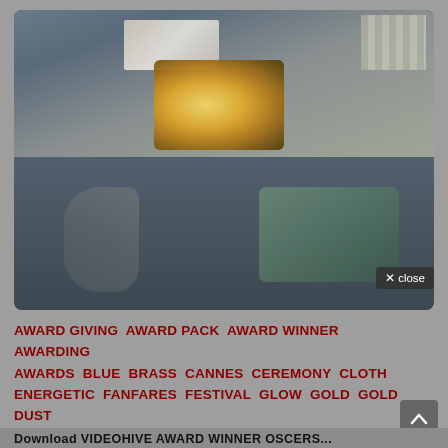[Figure (photo): Aerial/overhead view of a street scene showing what appears to be a burning or glowing object/vehicle in the upper half, and a car with an object (possibly a robotic arm or debris) in the lower half. The image is divided by a dark red horizontal band.]
AWARD GIVING  AWARD PACK  AWARD WINNER  AWARDING  AWARDS  BLUE  BRASS  CANNES  CEREMONY  CLOTH  ENERGETIC  FANFARES  FESTIVAL  GLOW  GOLD  GOLD DUST  GRANDIOSE  INSPIRATIONAL  NOMINATION  OLYMPIC  ORCHESTRA  OSCAR  OSCARS  POWERFUL  PRESENTATIONS  SLIDESHOW  TEMPLATES  TRIUMPH  VIDEO DISPLAYS
Download VIDEOHIVE AWARD WINNER OSCARS...